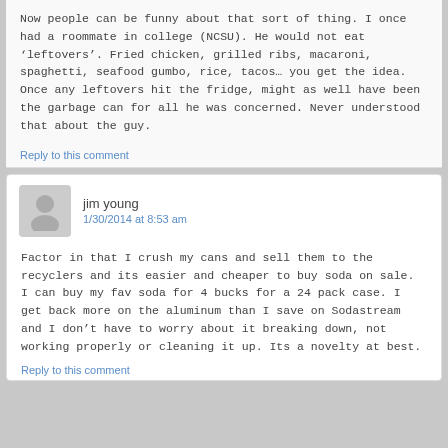Now people can be funny about that sort of thing. I once had a roommate in college (NCSU). He would not eat ‘leftovers’. Fried chicken, grilled ribs, macaroni, spaghetti, seafood gumbo, rice, tacos… you get the idea. Once any leftovers hit the fridge, might as well have been the garbage can for all he was concerned. Never understood that about the guy.
Reply to this comment
jim young
1/30/2014 at 8:53 am
Factor in that I crush my cans and sell them to the recyclers and its easier and cheaper to buy soda on sale. I can buy my fav soda for 4 bucks for a 24 pack case. I get back more on the aluminum than I save on Sodastream and I don’t have to worry about it breaking down, not working properly or cleaning it up. Its a novelty at best.
Reply to this comment